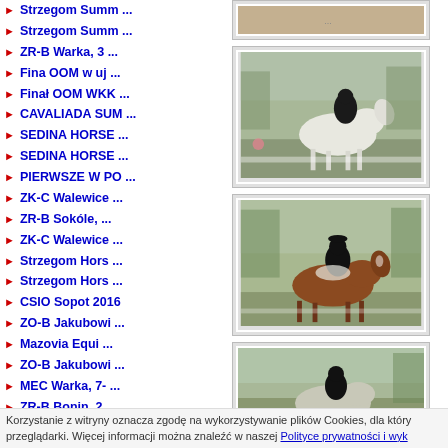Strzegom Summ ...
Strzegom Summ ...
ZR-B Warka, 3 ...
Fina OOM w uj ...
Finał OOM WKK ...
CAVALIADA SUM ...
SEDINA HORSE ...
SEDINA HORSE ...
PIERWSZE W PO ...
ZK-C Walewice ...
ZR-B Sokóle, ...
ZK-C Walewice ...
Strzegom Hors ...
Strzegom Hors ...
CSIO Sopot 2016
ZO-B Jakubowi ...
Mazovia Equi ...
ZO-B Jakubowi ...
MEC Warka, 7- ...
ZR-B Bonin, 2 ...
CNC BeckerSpo ...
Mazovia Equi ...
ZR-B Barlinek ...
Mazovia Equi ...
ZR-B Warka, 9 ...
ZR-B Warka, 9 ...
CNC Strzegom. ...
[Figure (photo): Rider in black attire on white horse at equestrian competition]
[Figure (photo): Rider in black attire on brown horse at equestrian competition]
[Figure (photo): Rider on horse at equestrian competition, partially visible]
Korzystanie z witryny oznacza zgodę na wykorzystywanie plików Cookies, dla który przeglądarki. Więcej informacji można znaleźć w naszej Polityce prywatności i wyk